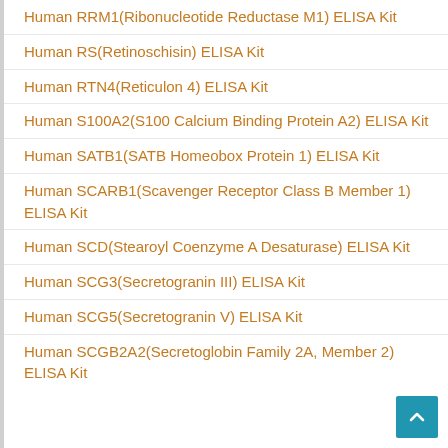Human RRM1(Ribonucleotide Reductase M1) ELISA Kit
Human RS(Retinoschisin) ELISA Kit
Human RTN4(Reticulon 4) ELISA Kit
Human S100A2(S100 Calcium Binding Protein A2) ELISA Kit
Human SATB1(SATB Homeobox Protein 1) ELISA Kit
Human SCARB1(Scavenger Receptor Class B Member 1) ELISA Kit
Human SCD(Stearoyl Coenzyme A Desaturase) ELISA Kit
Human SCG3(Secretogranin III) ELISA Kit
Human SCG5(Secretogranin V) ELISA Kit
Human SCGB2A2(Secretoglobin Family 2A, Member 2) ELISA Kit